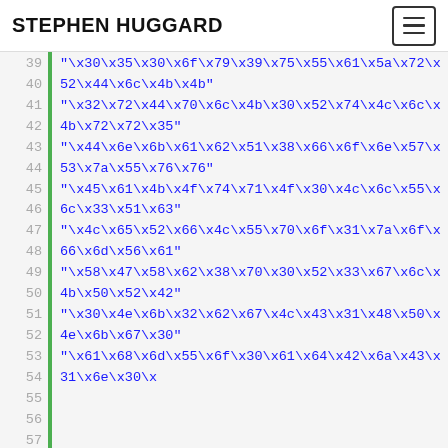STEPHEN HUGGARD
[Figure (screenshot): Code block showing hex-escaped string values on lines 39-61, with green vertical bar indicator and grey line numbers on left. Blue monospace text on light grey background.]